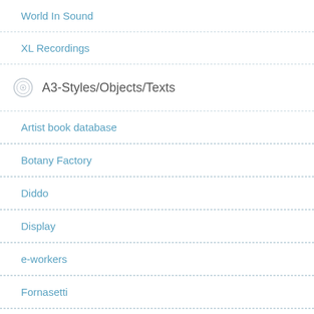World In Sound
XL Recordings
A3-Styles/Objects/Texts
Artist book database
Botany Factory
Diddo
Display
e-workers
Fornasetti
Front Design